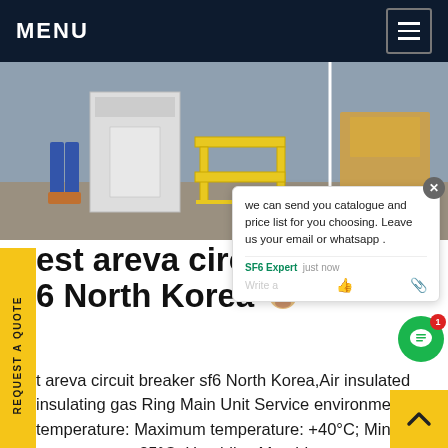MENU
[Figure (photo): Construction site photo showing electrical equipment including a yellow step stool/ladder and white electrical cabinets, with workers visible]
REQUEST A QUOTE
best areva circuit breaker sf6 North Korea
we can send you catalogue and price list for you choosing. Leave us your email or whatsapp .
SF6 Expert   just now
best areva circuit breaker sf6 North Korea,Air insulated insulating gas Ring Main Unit Service environment. Air temperature: Maximum temperature: +40°C; Minimum temperature:−35°C. Humidity: Monthly average humidity 95%; Daily average humidity 90% . Altitude above sea level: Maximum installation altitude: 2500m. Ambient air